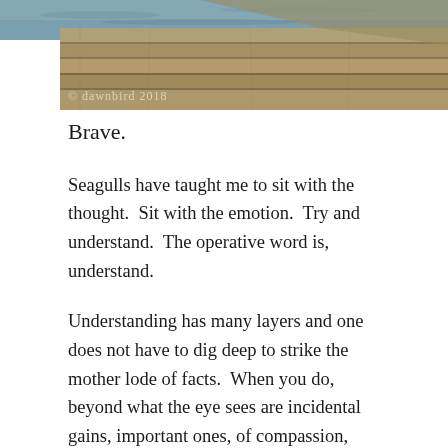[Figure (photo): Close-up photo of weathered wooden planks/dock with water visible at top, watermark '© dawnbird 2018' in lower left of image]
Brave.
Seagulls have taught me to sit with the thought.  Sit with the emotion.  Try and understand.  The operative word is, understand.
Understanding has many layers and one does not have to dig deep to strike the mother lode of facts.  When you do, beyond what the eye sees are incidental gains, important ones, of compassion, humility, wisdom.  But one has to first learn how to dig, trawl, and then sift.  (Any postgraduate student will attest to this).